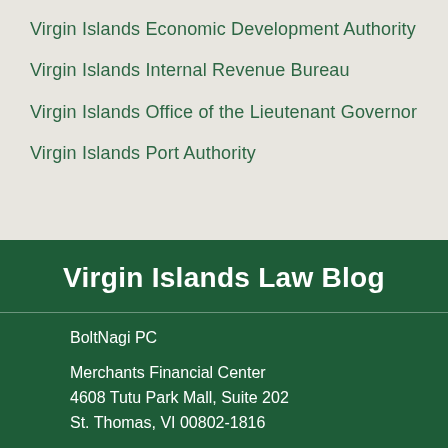Virgin Islands Economic Development Authority
Virgin Islands Internal Revenue Bureau
Virgin Islands Office of the Lieutenant Governor
Virgin Islands Port Authority
Virgin Islands Law Blog
BoltNagi PC
Merchants Financial Center
4608 Tutu Park Mall, Suite 202
St. Thomas, VI 00802-1816